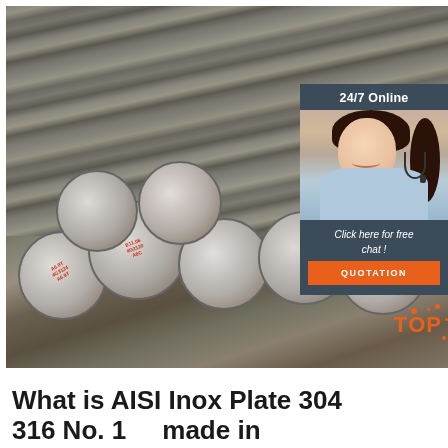[Figure (photo): Photo of steel round bars/rods with red markings stamped on their ends, stacked together, with a customer service chat widget overlay on the right showing '24/7 Online', a woman with headset, 'Click here for free chat!' text, a 'QUOTATION' button, and a 'TOP' logo with orange dots in the bottom right corner.]
What is AISI Inox Plate 304 316 No. 1     made in